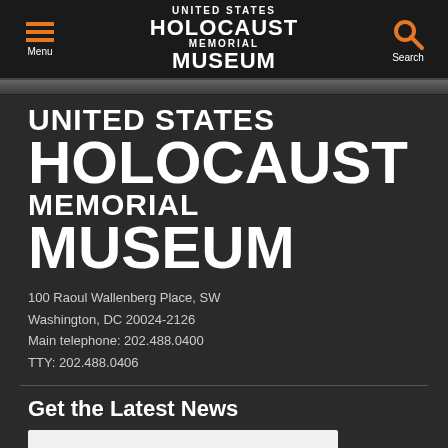UNITED STATES HOLOCAUST MEMORIAL MUSEUM — Menu | Search
[Figure (logo): Large white text logo: UNITED STATES HOLOCAUST MEMORIAL MUSEUM on dark background]
100 Raoul Wallenberg Place, SW
Washington, DC 20024-2126
Main telephone: 202.488.0400
TTY: 202.488.0406
Get the Latest News